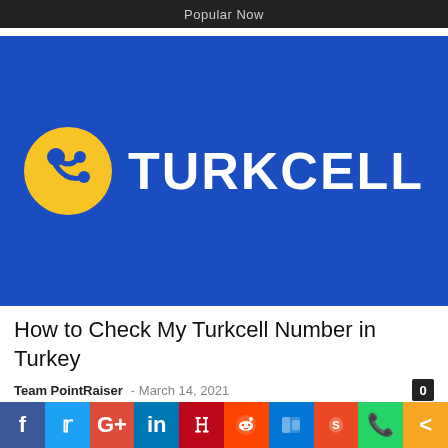Popular Now
[Figure (logo): Turkcell logo on blue background. Yellow circular icon with white dots and lines on the left, and the word TURKCELL in large white bold letters on the right.]
How to Check My Turkcell Number in Turkey
Team PointRaiser  -  March 14, 2021
[Figure (infographic): Social media sharing bar with icons for Facebook, Twitter, Google+, LinkedIn, Pinterest, Reddit, Digg, StumbleUpon, WhatsApp, and Share.]